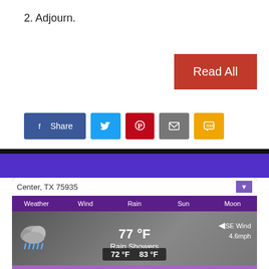2. Adjourn.
[Figure (screenshot): Red 'Read All' button]
[Figure (screenshot): Social sharing buttons: Facebook Share, Twitter, Pinterest, Email, SMS]
[Figure (screenshot): Weather widget showing Center, TX 75935. Current: 77°F Rain Showers, SE Wind 4.6mph, low 72°F high 83°F. Tabs: Weather, Wind, Rain, Sun, Moon. Forecast: 72/85, 72/87, 72/89, 73/90]